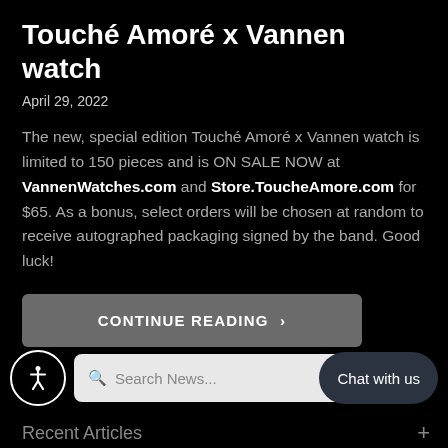Touché Amoré x Vannen watch
April 29, 2022
The new, special edition Touché Amoré x Vannen watch is limited to 150 pieces and is ON SALE NOW at VannenWatches.com and Store.ToucheAmore.com for $65. As a bonus, select orders will be chosen at random to receive autographed packaging signed by the band. Good luck!
CONTINUE READING >
Search News...
Chat with us
Recent Articles